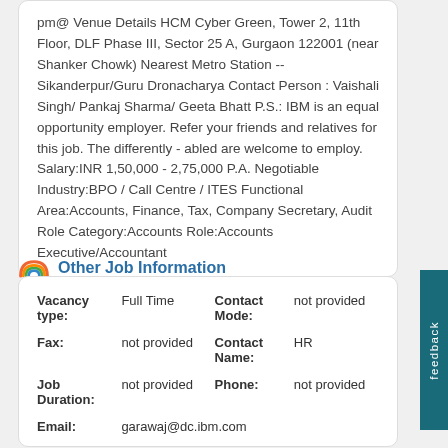pm@ Venue Details HCM Cyber Green, Tower 2, 11th Floor, DLF Phase III, Sector 25 A, Gurgaon 122001 (near Shanker Chowk) Nearest Metro Station -- Sikanderpur/Guru Dronacharya Contact Person : Vaishali Singh/ Pankaj Sharma/ Geeta Bhatt P.S.: IBM is an equal opportunity employer. Refer your friends and relatives for this job. The differently - abled are welcome to employ. Salary:INR 1,50,000 - 2,75,000 P.A. Negotiable Industry:BPO / Call Centre / ITES Functional Area:Accounts, Finance, Tax, Company Secretary, Audit Role Category:Accounts Role:Accounts Executive/Accountant
Other Job Information
| Field | Value | Field | Value |
| --- | --- | --- | --- |
| Vacancy type: | Full Time | Contact Mode: | not provided |
| Fax: | not provided | Contact Name: | HR |
| Job Duration: | not provided | Phone: | not provided |
| Email: | garawaj@dc.ibm.com |  |  |